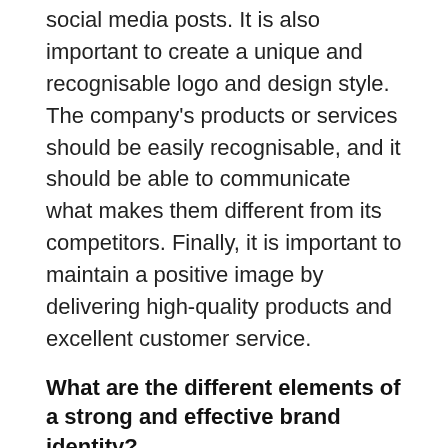social media posts. It is also important to create a unique and recognisable logo and design style. The company's products or services should be easily recognisable, and it should be able to communicate what makes them different from its competitors. Finally, it is important to maintain a positive image by delivering high-quality products and excellent customer service.
What are the different elements of a strong and effective brand identity?
A strong and effective brand identity is not